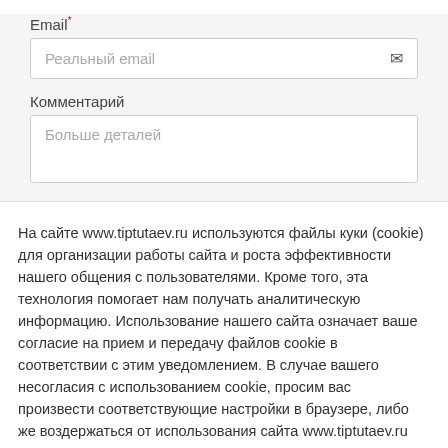Email*
Реальный email
Комментарий
Больше деталей
На сайте www.tiptutaev.ru используются файлы куки (cookie) для организации работы сайта и роста эффективности нашего общения с пользователями. Кроме того, эта технология помогает нам получать аналитическую информацию. Использование нашего сайта означает ваше согласие на прием и передачу файлов cookie в соответствии с этим уведомлением. В случае вашего несогласия с использованием cookie, просим вас произвести соответствующие настройки в браузере, либо же воздержаться от использования сайта www.tiptutaev.ru
Настройка Cookie
Принять всё